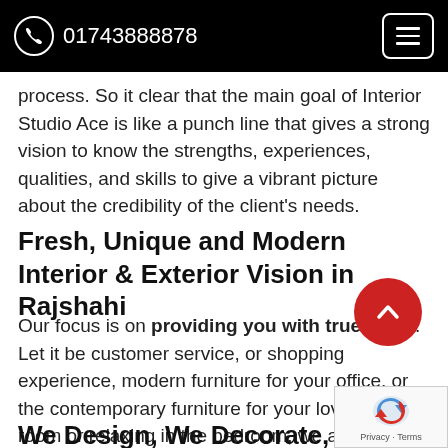01743888878
process. So it clear that the main goal of Interior Studio Ace is like a punch line that gives a strong vision to know the strengths, experiences, qualities, and skills to give a vibrant picture about the credibility of the client's needs.
Fresh, Unique and Modern Interior & Exterior Vision in Rajshahi
Our focus is on providing you with true value. Let it be customer service, or shopping experience, modern furniture for your office, or the contemporary furniture for your lovely living room or relaxing in the bedroom, we are world bent committed to combining excellent product quality with service into an experience you just cannot say no to.
We Design, We Decorate, We Create Your